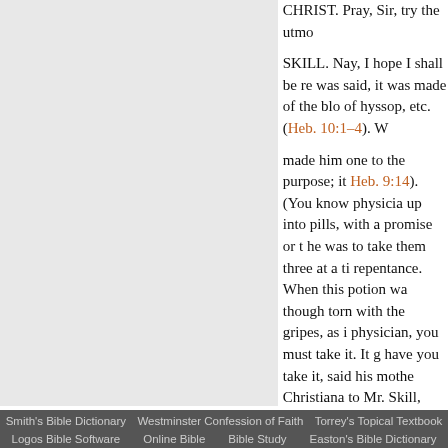CHRIST. Pray, Sir, try the utmo...
SKILL. Nay, I hope I shall be re... was said, it was made of the blo... of hyssop, etc. (Heb. 10:1–4). W...
made him one to the purpose; it... Heb. 9:14). (You know physicia... up into pills, with a promise or t... he was to take them three at a ti... repentance. When this potion wa... though torn with the gripes, as i... physician, you must take it. It g... have you take it, said his mothe... Christiana to Mr. Skill, how doe... touched one of the pills with the... sweeter than honey. If thou love... Mercy, if thou lovest thy life, ta... of God upon it, he took it, and i... him to sleep, and rest quietly; it... rid him of his gripes. 154 So in l... go from room to room, and talk... he was healed. 155
So when the boy was healed, Ch... for your pains and care to, and o... College of Physicians, accordin...
Smith's Bible Dictionary | Westminster Confession of Faith | Torrey's Topical Textbook | Logos Bible Software | Online Bible | Bible Study | Easton's Bible Dictionary